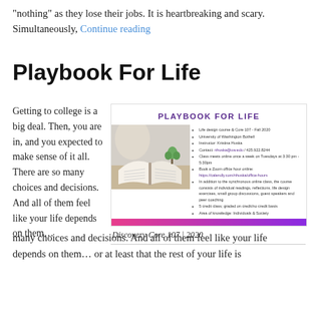“nothing” as they lose their jobs. It is heartbreaking and scary. Simultaneously, Continue reading
Playbook For Life
Getting to college is a big deal. Then, you are in, and you expected to make sense of it all. There are so many choices and decisions. And all of them feel like your life depends on them… or at least that the rest of your life is
[Figure (screenshot): Flyer for Playbook For Life course - Discovery Core 107, Fall 2020, University of Washington Bothell. Instructor: Kristina Huska. Shows a photo of open books and bullet points with course details.]
Discovery Core 107 | 2020